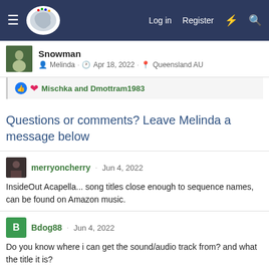Log in  Register
Snowman · Melinda · Apr 18, 2022 · Queensland AU
Mischka and Dmottram1983
Questions or comments? Leave Melinda a message below
merryoncherry · Jun 4, 2022
InsideOut Acapella... song titles close enough to sequence names, can be found on Amazon music.
Bdog88 · Jun 4, 2022
Do you know where i can get the sound/audio track from? and what the title it is?